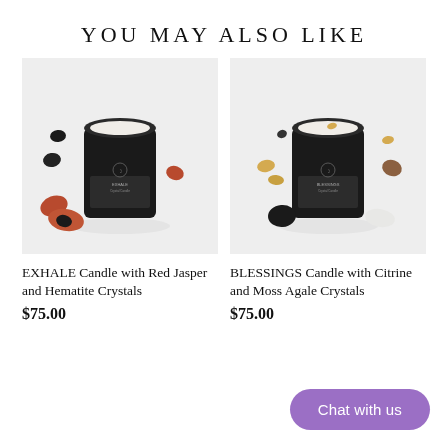YOU MAY ALSO LIKE
[Figure (photo): Black cylindrical candle jar with white wax and crystals on top, surrounded by red jasper and hematite crystals on a light gray background]
[Figure (photo): Black cylindrical candle jar with white wax and crystals on top, surrounded by citrine and moss agate crystals on a light gray background]
EXHALE Candle with Red Jasper and Hematite Crystals
$75.00
BLESSINGS Candle with Citrine and Moss Agale Crystals
$75.00
Chat with us